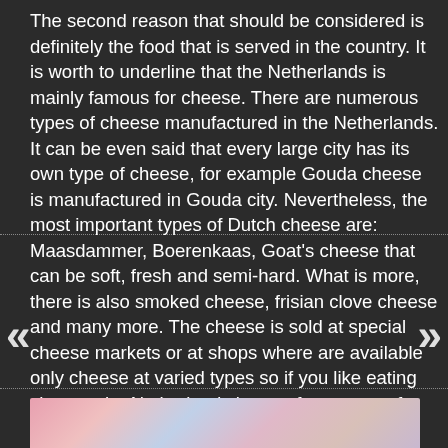The second reason that should be considered is definitely the food that is served in the country. It is worth to underline that the Netherlands is mainly famous for cheese. There are numerous types of cheese manufactured in the Netherlands. It can be even said that every large city has its own type of cheese, for example Gouda cheese is manufactured in Gouda city. Nevertheless, the most important types of Dutch cheese are: Maasdammer, Boerenkaas, Goat's cheese that can be soft, fresh and semi-hard. What is more, there is also smoked cheese, frisian clove cheese and many more. The cheese is sold at special cheese markets or at shops where are available only cheese at varied types so if you like eating cheese, the Netherlands is a perfect country for you! What is more, other food that can be found in the city is also worth considering, such as chips that are also delicious and taste different than in other c
[Figure (photo): Partial view of a colorful photo at the bottom of the page, appears to show food or cheese-related content with pink/blue/warm tones]